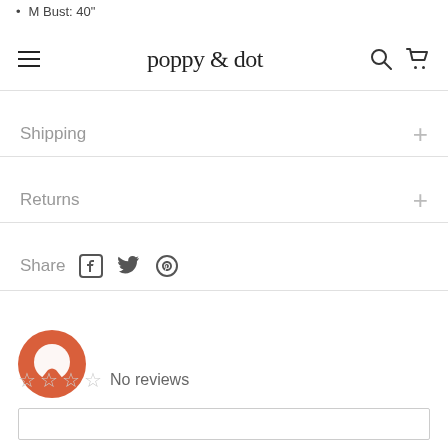M Bust: 40"
poppy & dot
Shipping
Returns
Share
[Figure (logo): Orange circular chat/review bubble icon]
No reviews